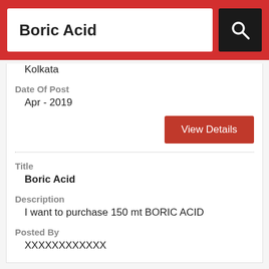Boric Acid
Kolkata
Date Of Post
Apr - 2019
View Details
Title
Boric Acid
Description
I want to purchase 150 mt BORIC ACID
Posted By
XXXXXXXXXXXX